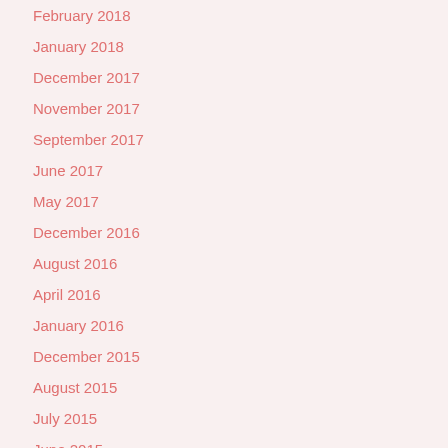February 2018
January 2018
December 2017
November 2017
September 2017
June 2017
May 2017
December 2016
August 2016
April 2016
January 2016
December 2015
August 2015
July 2015
June 2015
May 2015